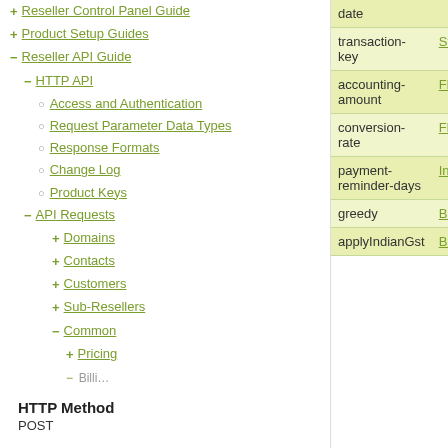+ Reseller Control Panel Guide
+ Product Setup Guides
- Reseller API Guide
- HTTP API
○ Access and Authentication
○ Request Parameter Data Types
○ Response Formats
○ Change Log
○ Product Keys
- API Requests
+ Domains
+ Contacts
+ Customers
+ Sub-Resellers
- Common
+ Pricing
| Parameter | Type |
| --- | --- |
| date |  |
| transaction-key | Str |
| accounting-amount | Flo |
| conversion-rate | Flo |
| payment-reminder-days | Int |
| greedy | Bo |
| applyIndianGst | Bo |
HTTP Method
POST